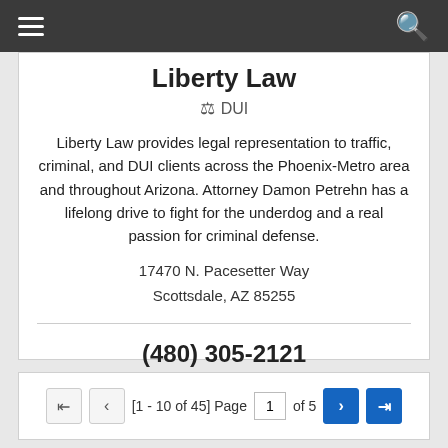Liberty Law
⚖ DUI
Liberty Law provides legal representation to traffic, criminal, and DUI clients across the Phoenix-Metro area and throughout Arizona. Attorney Damon Petrehn has a lifelong drive to fight for the underdog and a real passion for criminal defense.
17470 N. Pacesetter Way
Scottsdale, AZ 85255
(480) 305-2121
View Profile
[1 - 10 of 45] Page 1 of 5